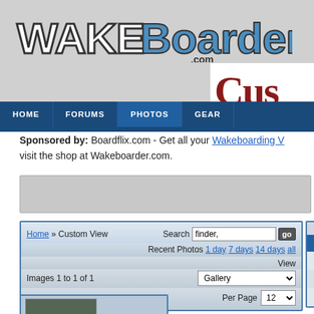[Figure (logo): WakeBoarder.com logo with stylized text]
[Figure (logo): Partial 'Cus' text in dark red serif font on white background]
HOME | FORUMS | PHOTOS | GEAR
Sponsored by: Boardflix.com - Get all your Wakeboarding V... visit the shop at Wakeboarder.com.
[Figure (screenshot): Ad placeholder box]
Home » Custom View   Search finder,  [go]  Recent Photos 1 day  7 days  14 days  all  View  Images 1 to 1 of 1  Gallery  Per Page 12
[Figure (photo): Thumbnail image of outdoor scene]
| Sun |
| --- |
| 7 |
| 14 |
| 21 |